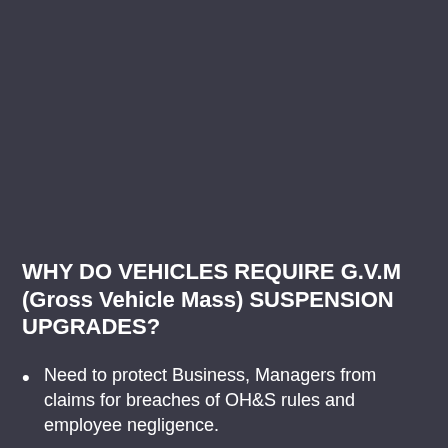WHY DO VEHICLES REQUIRE G.V.M (Gross Vehicle Mass) SUSPENSION UPGRADES?
Need to protect Business, Managers from claims for breaches of OH&S rules and employee negligence.
Possibility of Insurance companies to void payout if the vehicle is loaded beyond approved GVM.